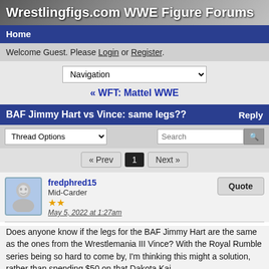Wrestlingfigs.com WWE Figure Forums
Home
Welcome Guest. Please Login or Register.
Navigation
« WFT: Mattel WWE
BAF Jimmy Hart vs Vince: same legs??
Thread Options
« Prev  1  Next »
fredphred15
Mid-Carder
May 5, 2022 at 1:27am
Does anyone know if the legs for the BAF Jimmy Hart are the same as the ones from the Wrestlemania III Vince? With the Royal Rumble series being so hard to come by, I'm thinking this might a solution, rather than spending $50 on that Dakota Kai.
Fighter Hayabusa